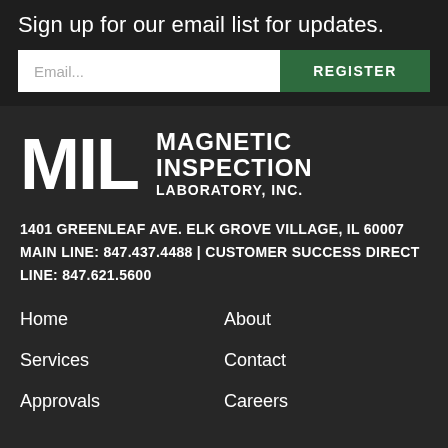Sign up for our email list for updates.
Email...
REGISTER
[Figure (logo): MIL - Magnetic Inspection Laboratory, Inc. logo with large white MIL letters and company name text]
1401 GREENLEAF AVE. ELK GROVE VILLAGE, IL 60007
MAIN LINE: 847.437.4488 | CUSTOMER SUCCESS DIRECT LINE: 847.621.5600
Home
About
Services
Contact
Approvals
Careers